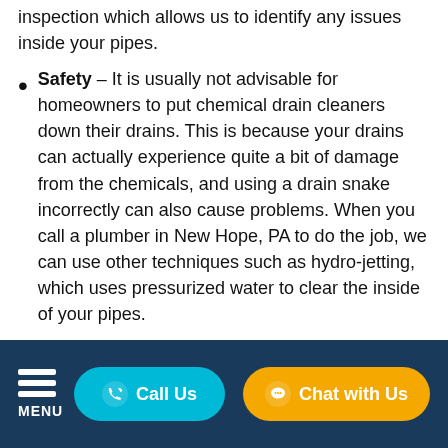inspection which allows us to identify any issues inside your pipes.
Safety – It is usually not advisable for homeowners to put chemical drain cleaners down their drains. This is because your drains can actually experience quite a bit of damage from the chemicals, and using a drain snake incorrectly can also cause problems. When you call a plumber in New Hope, PA to do the job, we can use other techniques such as hydro-jetting, which uses pressurized water to clear the inside of your pipes.
Quality – Without the proper training and knowledge, non-professionals run the risk of their drains not getting as clean as possible. This can cause
MENU  Call Us  Chat with Us